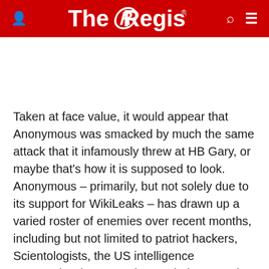The Register
Taken at face value, it would appear that Anonymous was smacked by much the same attack that it infamously threw at HB Gary, or maybe that's how it is supposed to look. Anonymous – primarily, but not solely due to its support for WikiLeaks – has drawn up a varied roster of enemies over recent months, including but not limited to patriot hackers, Scientologists, the US intelligence community, the entertainment industry and Westboro Baptist Church. It is almost certainly possible that